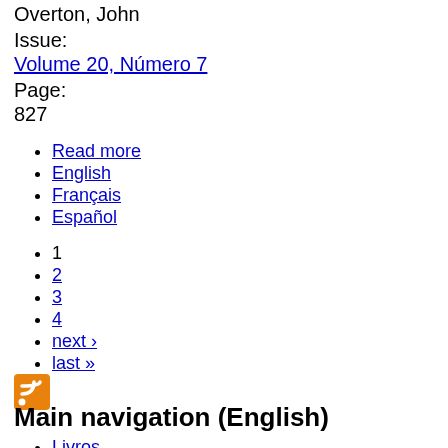Overton, John
Issue:
Volume 20, Número 7
Page:
827
Read more
English
Français
Español
1
2
3
4
next ›
last »
[Figure (logo): RSS feed icon - orange square with white wifi-style signal symbol]
Main navigation (English)
Livros
Resenhas de livros
Apresentação